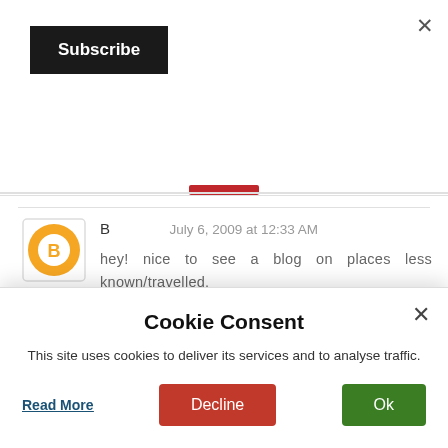[Figure (screenshot): Subscribe button - black rectangle with white bold text 'Subscribe']
B   July 6, 2009 at 12:33 AM
hey! nice to see a blog on places less known/travelled.

another place of interest nearby kodumudi is the near village [about 10 kms from
Cookie Consent
This site uses cookies to deliver its services and to analyse traffic.
Read More
Decline
Ok